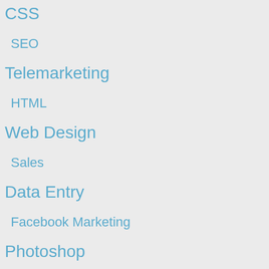CSS
SEO
Telemarketing
HTML
Web Design
Sales
Data Entry
Facebook Marketing
Photoshop
Admin Assistant
Internet Research